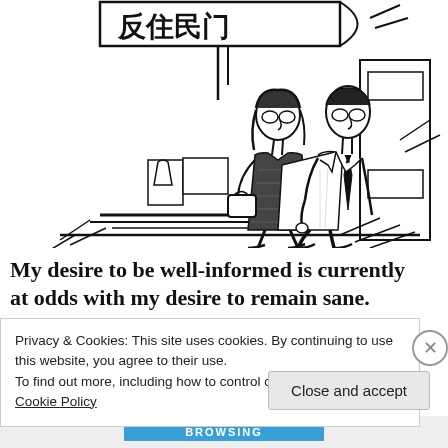[Figure (illustration): A black-and-white cartoon sketch showing two people (a woman with glasses and handbag, and a man with glasses and tie) walking past a building with Chinese characters on a sign. Urban street scene with sketch-style line art.]
My desire to be well-informed is currently at odds with my desire to remain sane.
Privacy & Cookies: This site uses cookies. By continuing to use this website, you agree to their use.
To find out more, including how to control cookies, see here: Cookie Policy
Close and accept